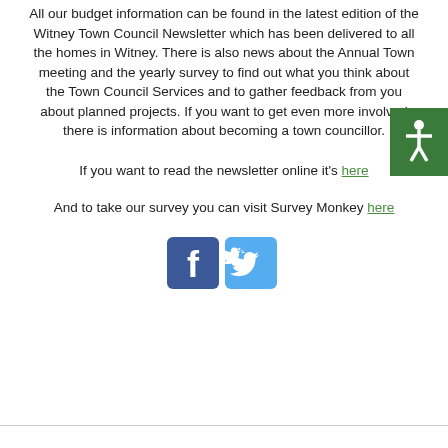All our budget information can be found in the latest edition of the Witney Town Council Newsletter which has been delivered to all the homes in Witney. There is also news about the Annual Town meeting and the yearly survey to find out what you think about the Town Council Services and to gather feedback from you about planned projects. If you want to get even more involved there is information about becoming a town councillor.
If you want to read the newsletter online it's here
And to take our survey you can visit Survey Monkey here
[Figure (logo): Facebook and Twitter social media icons side by side]